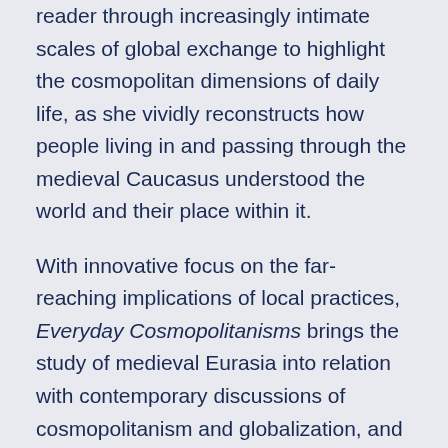reader through increasingly intimate scales of global exchange to highlight the cosmopolitan dimensions of daily life, as she vividly reconstructs how people living in and passing through the medieval Caucasus understood the world and their place within it.
With innovative focus on the far-reaching implications of local practices, Everyday Cosmopolitanisms brings the study of medieval Eurasia into relation with contemporary discussions of cosmopolitanism and globalization, and challenges persistent divisions between modern and medieval, global and local.
CO-SPONSORS
Armenian Institute
National Association for Armenian Studies and